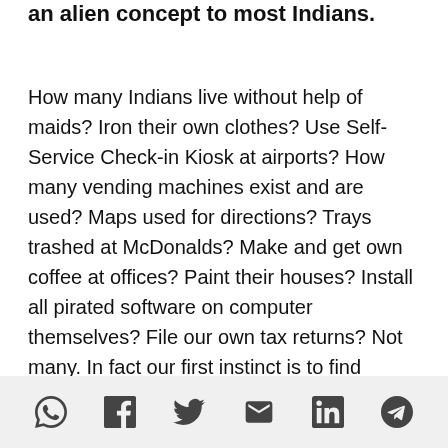an alien concept to most Indians.
How many Indians live without help of maids? Iron their own clothes? Use Self-Service Check-in Kiosk at airports? How many vending machines exist and are used? Maps used for directions? Trays trashed at McDonalds? Make and get own coffee at offices? Paint their houses? Install all pirated software on computer themselves? File our own tax returns? Not many. In fact our first instinct is to find someone who can help us with it.
Social share icons: WhatsApp, Facebook, Twitter, Email, LinkedIn, Telegram